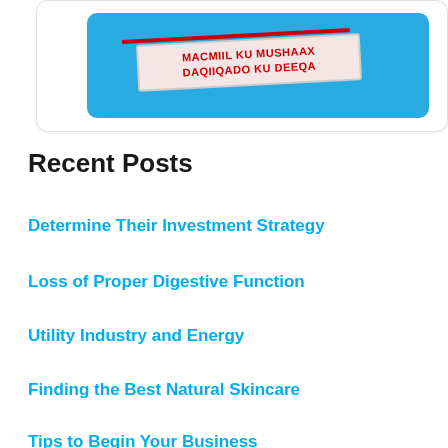[Figure (illustration): A blue rounded rectangle card with a paper label strip reading 'MACMIIL KU MUSHAAX DAQIIQADO KU DEEQA' in red bold text, with a red diagonal line above, on a white card background.]
Recent Posts
Determine Their Investment Strategy
Loss of Proper Digestive Function
Utility Industry and Energy
Finding the Best Natural Skincare
Tips to Begin Your Business